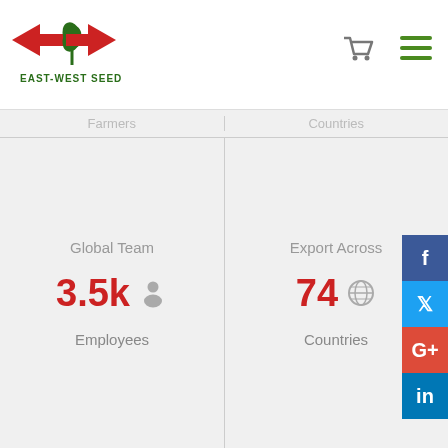[Figure (logo): East-West Seed logo with red arrows and green plant symbol, text EAST-WEST SEED below]
Farmers
Countries
Global Team
3.5k Employees
Export Across
74 Countries
Our website uses cookies to improve your experience. By using this website, you agree to the use of cookies as outlined in East-West Seed's Privacy Statement.
< I agree